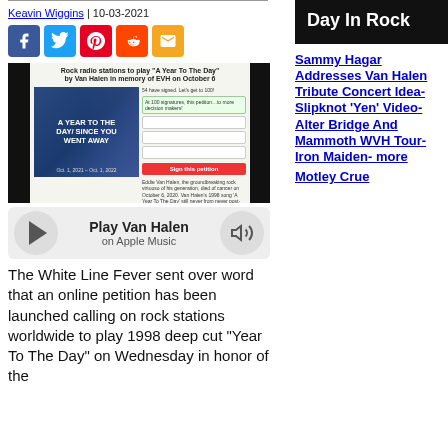Keavin Wiggins | 10-03-2021
[Figure (screenshot): Social sharing icons: Facebook, Twitter, Pinterest, Reddit, Email]
[Figure (screenshot): Screenshot of a Change.org petition page titled 'Rock radio stations to play A Year To The Day by Van Halen in memory of EVH on October 6']
[Figure (infographic): Apple Music play bar with Play Van Halen on Apple Music label]
The White Line Fever sent over word that an online petition has been launched calling on rock stations worldwide to play 1998 deep cut "Year To The Day" on Wednesday in honor of the
Day In Rock
Sammy Hagar Addresses Van Halen Tribute Concert Idea- Slipknot 'Yen' Video- Alter Bridge And Mammoth WVH Tour- Iron Maiden- more
Motley Crue